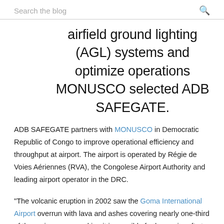Search the blog
airfield ground lighting (AGL) systems and optimize operations MONUSCO selected ADB SAFEGATE.
ADB SAFEGATE partners with MONUSCO in Democratic Republic of Congo to improve operational efficiency and throughput at airport. The airport is operated by Régie de Voies Aériennes (RVA), the Congolese Airport Authority and leading airport operator in the DRC.
"The volcanic eruption in 2002 saw the Goma International Airport overrun with lava and ashes covering nearly one-third of the main runway making it impossible for large aircrafts to land and disrupting daytime operations. Night time operations were also affected due to damage caused to the ground